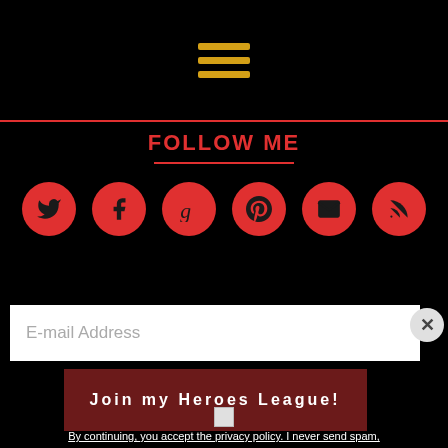[Figure (illustration): Hamburger menu icon with three horizontal golden/yellow lines on black background]
FOLLOW ME
[Figure (illustration): Six red circular social media icons: Twitter, Facebook, Goodreads, Pinterest, Email, RSS]
LEGAL INFORMATION
[Figure (screenshot): Email signup popup overlay with text input for E-mail Address, a dark red Join my Heroes League! button, a checkbox, and privacy policy text]
E-mail Address
Join my Heroes League!
By continuing, you accept the privacy policy. I never send spam, and will not share your email address with anyone.